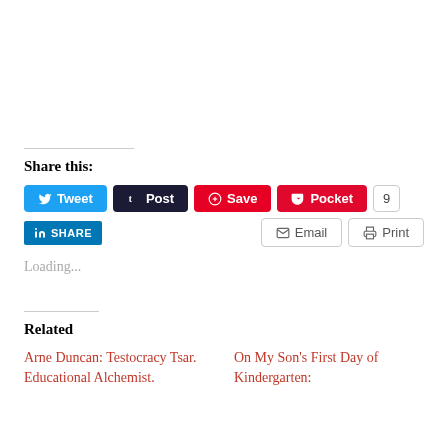Share this:
[Figure (infographic): Social sharing buttons: Tweet, Post, Save, Pocket (9), Share (LinkedIn), Email, Print]
Loading...
Related
Arne Duncan: Testocracy Tsar. Educational Alchemist.
On My Son's First Day of Kindergarten: